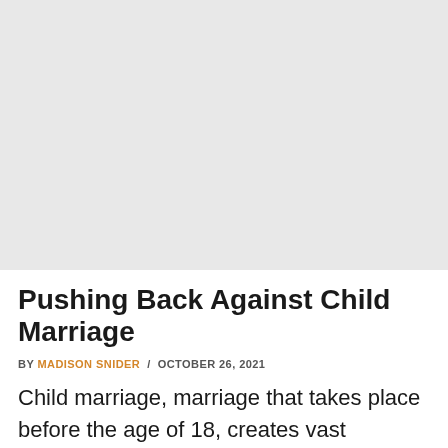[Figure (photo): Large gray placeholder image at top of article]
Pushing Back Against Child Marriage
BY MADISON SNIDER / OCTOBER 26, 2021
Child marriage, marriage that takes place before the age of 18, creates vast vulnerabilities in young girls all over the...